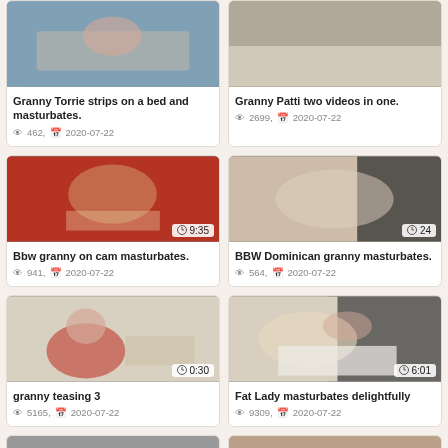[Figure (screenshot): Video thumbnail for Granny Torrie strips on a bed and masturbates]
Granny Torrie strips on a bed and masturbates.
462, 2020-07-22
[Figure (screenshot): Video thumbnail for Granny Patti two videos in one]
Granny Patti two videos in one.
2699, 2020-07-22
[Figure (screenshot): Video thumbnail: Bbw granny on cam masturbates, duration 9:35]
Bbw granny on cam masturbates.
941, 2020-07-22
[Figure (screenshot): Video thumbnail: BBW Dominican granny masturbates, duration 24]
BBW Dominican granny masturbates.
564, 2020-07-22
[Figure (screenshot): Video thumbnail: granny teasing 3, duration 0:30]
granny teasing 3
5165, 2020-07-22
[Figure (screenshot): Video thumbnail: Fat Lady masturbates delightfully, duration 6:01]
Fat Lady masturbates delightfully
9309, 2020-07-22
[Figure (screenshot): Video thumbnail partial at bottom left]
[Figure (screenshot): Video thumbnail partial at bottom right]